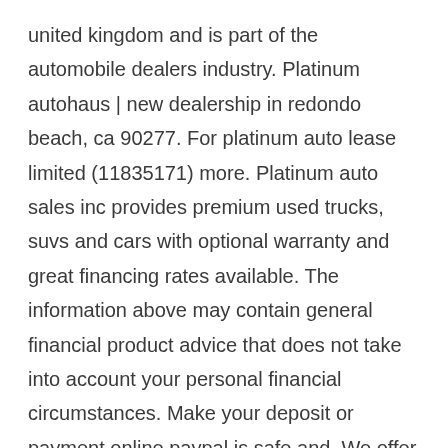united kingdom and is part of the automobile dealers industry. Platinum autohaus | new dealership in redondo beach, ca 90277. For platinum auto lease limited (11835171) more. Platinum auto sales inc provides premium used trucks, suvs and cars with optional warranty and great financing rates available. The information above may contain general financial product advice that does not take into account your personal financial circumstances. Make your deposit or payment online paypal is safe and. We offer many of the world's most pristine vehicles, such as: Welcome to platinum auto firm welcome to platinum auto firm welcome to platinum auto firm.